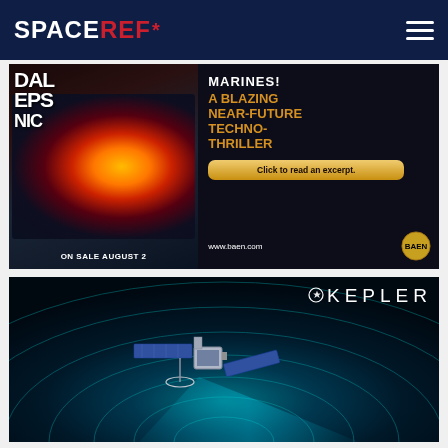SPACEREF*
[Figure (illustration): Advertisement for book 'Dalepsnic' — a near-future techno-thriller published by Baen. Left side shows book cover with explosion near a space station. Right side has text: MARINES! A BLAZING NEAR-FUTURE TECHNO-THRILLER, Click to read an excerpt., ON SALE AUGUST 2, www.baen.com]
[Figure (illustration): Advertisement for Kepler satellite/spacecraft. Shows spacecraft with solar panels against a teal/dark background with concentric circular wave patterns. KEPLER logo in upper right.]